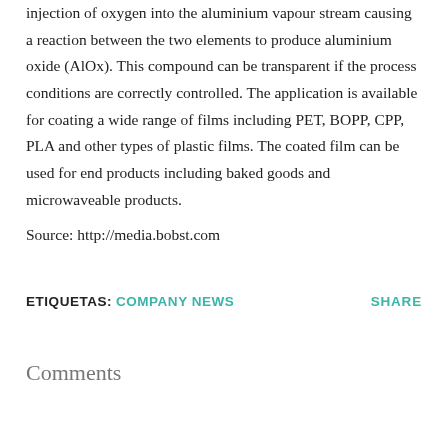injection of oxygen into the aluminium vapour stream causing a reaction between the two elements to produce aluminium oxide (AlOx). This compound can be transparent if the process conditions are correctly controlled. The application is available for coating a wide range of films including PET, BOPP, CPP, PLA and other types of plastic films. The coated film can be used for end products including baked goods and microwaveable products.
Source: http://media.bobst.com
ETIQUETAS: COMPANY NEWS   SHARE
Comments